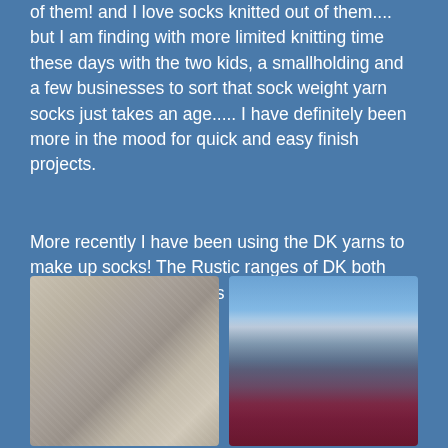of them! and I love socks knitted out of them.... but I am finding with more limited knitting time these days with the two kids, a smallholding and a few businesses to sort that sock weight yarn socks just takes an age..... I have definitely been more in the mood for quick and easy finish projects.
More recently I have been using the DK yarns to make up socks! The Rustic ranges of DK both make up gorgeous socks and the Hilltop does too!
[Figure (photo): Close-up photograph of grey knitted socks, showing the textured knit fabric in soft grey tones]
[Figure (photo): Red/purple knitted sock hanging on a wooden and metal frame outdoors, with countryside and blue sky in the background]